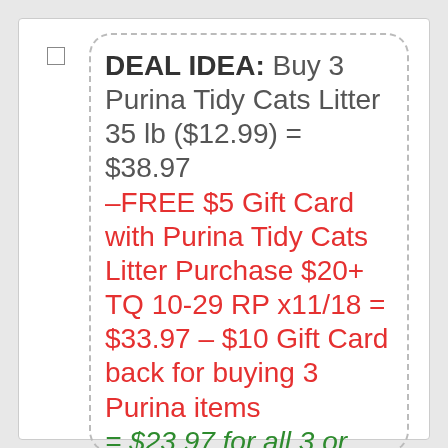DEAL IDEA: Buy 3 Purina Tidy Cats Litter 35 lb ($12.99) = $38.97 –FREE $5 Gift Card with Purina Tidy Cats Litter Purchase $20+ TQ 10-29 RP x11/18 = $33.97 – $10 Gift Card back for buying 3 Purina items = $23.97 for all 3 or $7.99 each after